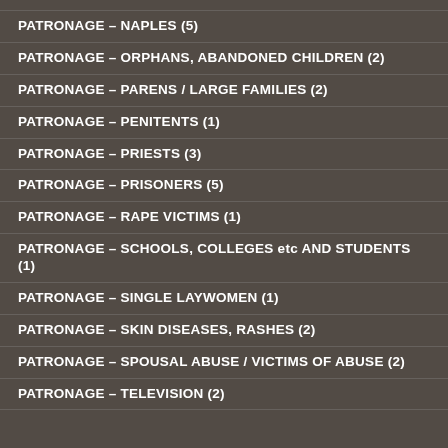PATRONAGE – NAPLES (5)
PATRONAGE – ORPHANS, ABANDONED CHILDREN (2)
PATRONAGE – PARENS / LARGE FAMILIES (2)
PATRONAGE – PENITENTS (1)
PATRONAGE – PRIESTS (3)
PATRONAGE – PRISONERS (5)
PATRONAGE – RAPE VICTIMS (1)
PATRONAGE – SCHOOLS, COLLEGES etc AND STUDENTS (1)
PATRONAGE – SINGLE LAYWOMEN (1)
PATRONAGE – SKIN DISEASES, RASHES (2)
PATRONAGE – SPOUSAL ABUSE / VICTIMS OF ABUSE (2)
PATRONAGE – TELEVISION (2)